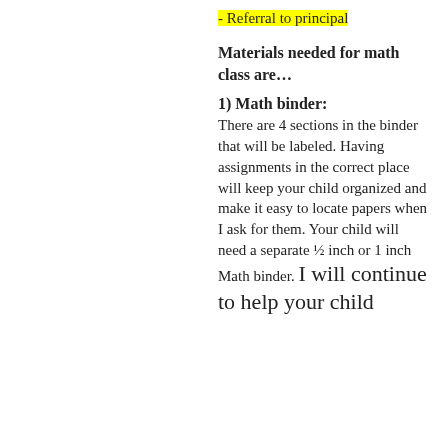- Referral to principal
Materials needed for math class are…
1) Math binder: There are 4 sections in the binder that will be labeled. Having assignments in the correct place will keep your child organized and make it easy to locate papers when I ask for them. Your child will need a separate ½ inch or 1 inch Math binder. I will continue to help your child